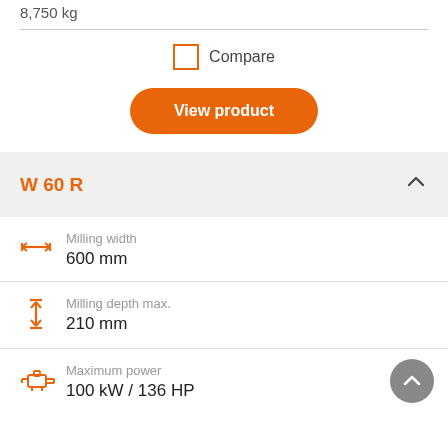8,750 kg
Compare
View product
W 60 R
Milling width
600 mm
Milling depth max.
210 mm
Maximum power
100 kW / 136 HP